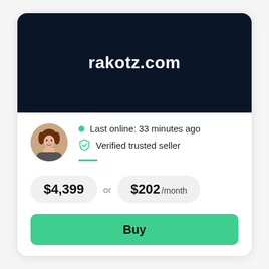rakotz.com
Last online: 33 minutes ago
Verified trusted seller
$4,399 or $202 /month
Buy